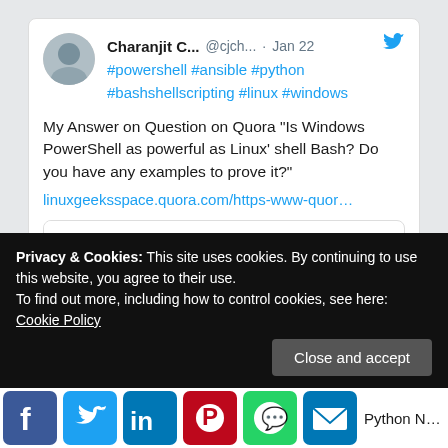[Figure (screenshot): Screenshot of a tweet by Charanjit C... (@cjch...) dated Jan 22, with hashtags #powershell #ansible #python #bashshellscripting #linux #windows, tweet text about a Quora answer on Windows PowerShell vs Linux Bash, a link to linuxgeeksspace.quora.com, and a link preview card showing a Linux penguin logo and URL https://www.quora.com/Is-Windows-...]
Privacy & Cookies: This site uses cookies. By continuing to use this website, you agree to their use.
To find out more, including how to control cookies, see here: Cookie Policy
Close and accept
Python New Year Greeting script..